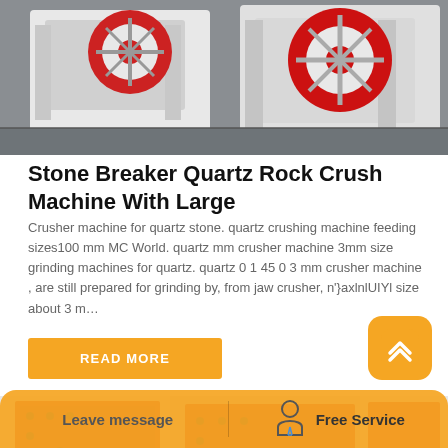[Figure (photo): Industrial jaw crusher machine, white and red colored, photographed from the side in a factory setting]
Stone Breaker Quartz Rock Crush Machine With Large
Crusher machine for quartz stone. quartz crushing machine feeding sizes100 mm MC World. quartz mm crusher machine 3mm size grinding machines for quartz. quartz 0 1 45 0 3 mm crusher machine , are still prepared for grinding by, from jaw crusher, n'}axlnlUIYl size about 3 m…
READ MORE
[Figure (photo): Red and white industrial crusher machines, multiple units, photographed in a factory]
Leave message
Free Service